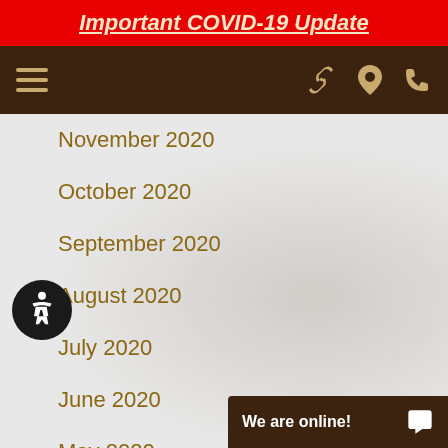Important COVID-19 Update
November 2020
October 2020
September 2020
August 2020
July 2020
June 2020
May 2020
April 2020
March 2019
February 2019
We are online!